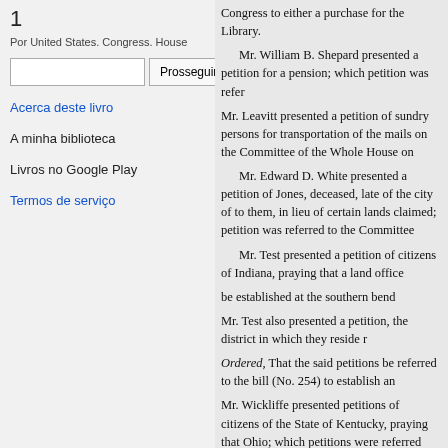1
Por United States. Congress. House
Acerca deste livro
A minha biblioteca
Livros no Google Play
Termos de serviço
Congress to either a purchase for the Library.
Mr. William B. Shepard presented a petition for a pension; which petition was referred to the Committee...
Mr. Leavitt presented a petition of sundry persons for transportation of the mails on the Sabbath, referred to Committee of the Whole House on...
Mr. Edward D. White presented a petition of the heirs of Jones, deceased, late of the city of..., to grant to them, in lieu of certain lands claimed by them; which petition was referred to the Committee...
Mr. Test presented a petition of sundry citizens of Indiana, praying that a land office be established at the southern bend...
Mr. Test also presented a petition...the district in which they reside r...
Ordered, That the said petitions be referred to the bill (No. 254) to establish an...
Mr. Wickliffe presented petitions of sundry citizens of the State of Kentucky, praying that...Ohio; which petitions were referred...